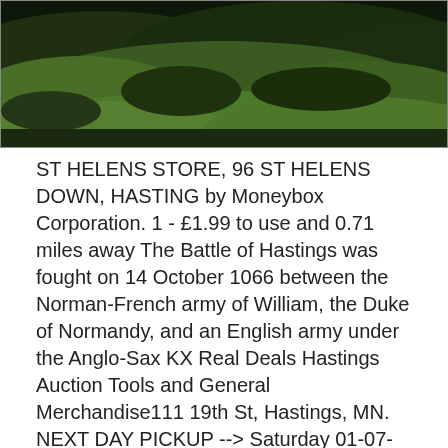[Figure (photo): Aerial or landscape photo showing green grassy hillside with dark vegetation and hills in background]
ST HELENS STORE, 96 ST HELENS DOWN, HASTING by Moneybox Corporation. 1 - £1.99 to use and 0.71 miles away The Battle of Hastings was fought on 14 October 1066 between the Norman-French army of William, the Duke of Normandy, and an English army under the Anglo-Sax KX Real Deals Hastings Auction Tools and General Merchandise111 19th St, Hastings, MN. NEXT DAY PICKUP --> Saturday 01-07-2017.
Rederi Ab Hasting. År 1930 grundades i Helsingborg Rederi AB Hasting av bl a Erik Håkansson, Wilhelm Håkansson och August Andersson. Erik Håkansson utsågs till huvudredare